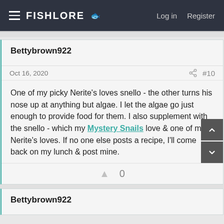FishLore | Log in | Register
Bettybrown922
Oct 16, 2020   #10
One of my picky Nerite's loves snello - the other turns his nose up at anything but algae. I let the algae go just enough to provide food for them. I also supplement with the snello - which my Mystery Snails love & one of my Nerite's loves. If no one else posts a recipe, I'll come back on my lunch & post mine.
0
Bettybrown922